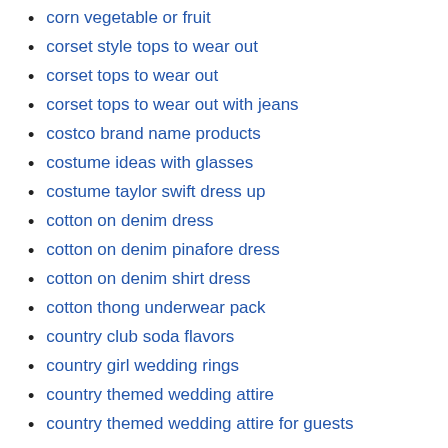corn vegetable or fruit
corset style tops to wear out
corset tops to wear out
corset tops to wear out with jeans
costco brand name products
costume ideas with glasses
costume taylor swift dress up
cotton on denim dress
cotton on denim pinafore dress
cotton on denim shirt dress
cotton thong underwear pack
country club soda flavors
country girl wedding rings
country themed wedding attire
country themed wedding attire for guests